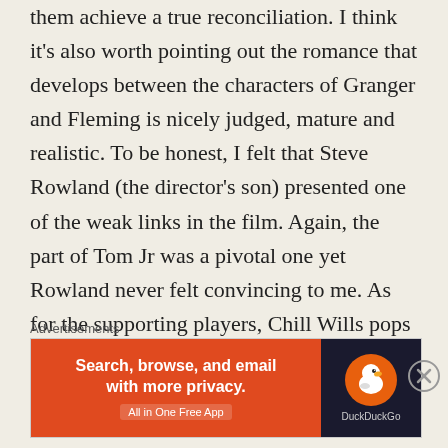them achieve a true reconciliation. I think it's also worth pointing out the romance that develops between the characters of Granger and Fleming is nicely judged, mature and realistic. To be honest, I felt that Steve Rowland (the director's son) presented one of the weak links in the film. Again, the part of Tom Jr was a pivotal one yet Rowland never felt convincing to me. As for the supporting players, Chill Wills pops up once again and gives a warm performance as the town preacher and one of Granger's few allies. James Gregory was another of those familiar faces, a character actor many will recognize straight away, and he provided a nice foe for Granger. There's also a semi-villainous role for Jacques
Advertisements
[Figure (other): DuckDuckGo advertisement banner with orange left panel reading 'Search, browse, and email with more privacy. All in One Free App' and dark right panel with DuckDuckGo logo]